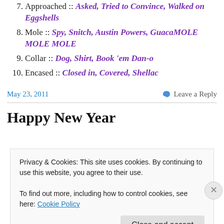7. Approached :: Asked, Tried to Convince, Walked on Eggshells
8. Mole :: Spy, Snitch, Austin Powers, GuacaMOLE MOLE MOLE
9. Collar :: Dog, Shirt, Book 'em Dan-o
10. Encased :: Closed in, Covered, Shellac
May 23, 2011   Leave a Reply
Happy New Year
Privacy & Cookies: This site uses cookies. By continuing to use this website, you agree to their use.
To find out more, including how to control cookies, see here: Cookie Policy